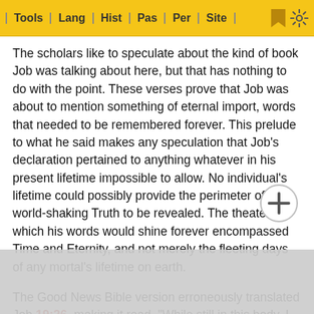Tools | Lang | Hist | Pas | Per | Site
The scholars like to speculate about the kind of book Job was talking about here, but that has nothing to do with the point. These verses prove that Job was about to mention something of eternal import, words that needed to be remembered forever. This prelude to what he said makes any speculation that Job's declaration pertained to anything whatever in his present lifetime impossible to allow. No individual's lifetime could possibly provide the perimeter of the world-shaking Truth to be revealed. The theater in which his words would shine forever encompassed Time and Eternity, and not merely the fleeting days of any mortal's lifetime on earth.
The Good News Bible version erroneously translated Job 19:26, making it read, "While still in this body, I shall see God." This is an example of that which was mentioned by Rowle... ny conce... the edito... hat